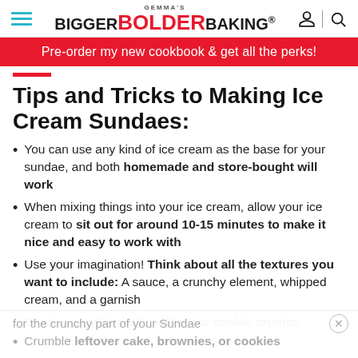Gemma's Bigger Bolder Baking
Pre-order my new cookbook & get all the perks!
Tips and Tricks to Making Ice Cream Sundaes:
You can use any kind of ice cream as the base for your sundae, and both homemade and store-bought will work
When mixing things into your ice cream, allow your ice cream to sit out for around 10-15 minutes to make it nice and easy to work with
Use your imagination! Think about all the textures you want to include: A sauce, a crunchy element, whipped cream, and a garnish
Grind up any kind of cookie into cookie crumbs for the crunchy part of your Sundae
Crumble leftover cake, brownies, or cookies